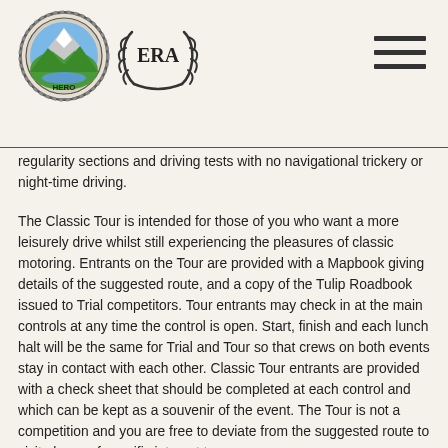HERO ERA logos and navigation
regularity sections and driving tests with no navigational trickery or night-time driving.
The Classic Tour is intended for those of you who want a more leisurely drive whilst still experiencing the pleasures of classic motoring. Entrants on the Tour are provided with a Mapbook giving details of the suggested route, and a copy of the Tulip Roadbook issued to Trial competitors. Tour entrants may check in at the main controls at any time the control is open. Start, finish and each lunch halt will be the same for Trial and Tour so that crews on both events stay in contact with each other. Classic Tour entrants are provided with a check sheet that should be completed at each control and which can be kept as a souvenir of the event. The Tour is not a competition and you are free to deviate from the suggested route to visit places of specific interest to you.
Many Tour entrants are keen to learn about the more competitive Reliability Trial and ask for a copy of the Tulip Roadbook. To help